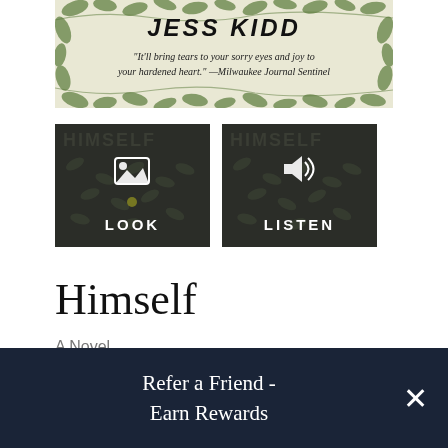[Figure (photo): Book cover for 'Himself' by Jess Kidd showing author name and quote from Milwaukee Journal Sentinel, with green vine decorations on a light background]
[Figure (screenshot): Two preview buttons side by side showing 'LOOK' and 'LISTEN' options for the book, with dark patterned background showing 'HIMSELF' text]
Himself
A Novel
By Jess Kidd
Trade Paperback
Refer a Friend - Earn Rewards